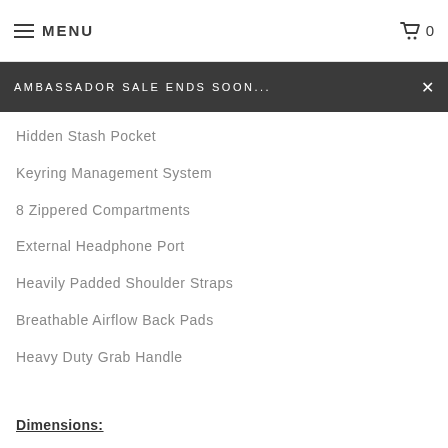MENU  0
AMBASSADOR SALE ENDS SOON...
Hidden Stash Pocket
Keyring Management System
8 Zippered Compartments
External Headphone Port
Heavily Padded Shoulder Straps
Breathable Airflow Back Pads
Heavy Duty Grab Handle
Dimensions: